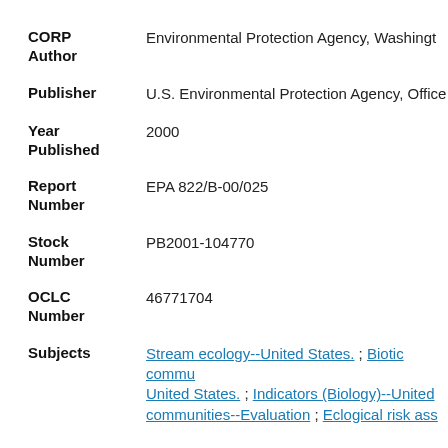CORP Author: Environmental Protection Agency, Washington
Publisher: U.S. Environmental Protection Agency, Office
Year Published: 2000
Report Number: EPA 822/B-00/025
Stock Number: PB2001-104770
OCLC Number: 46771704
Subjects: Stream ecology--United States. ; Biotic communities--United States. ; Indicators (Biology)--United communities--Evaluation ; Ecological risk ass